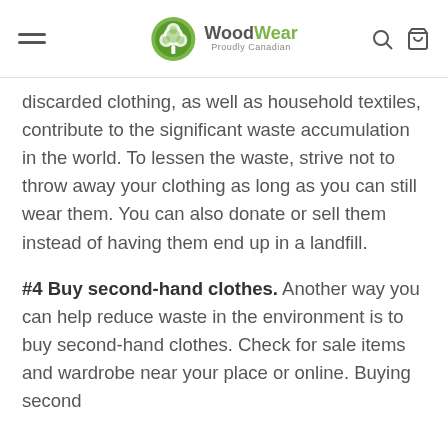WoodWear Proudly Canadian
discarded clothing, as well as household textiles, contribute to the significant waste accumulation in the world. To lessen the waste, strive not to throw away your clothing as long as you can still wear them. You can also donate or sell them instead of having them end up in a landfill.
#4 Buy second-hand clothes. Another way you can help reduce waste in the environment is to buy second-hand clothes. Check for sale items and wardrobe near your place or online. Buying second